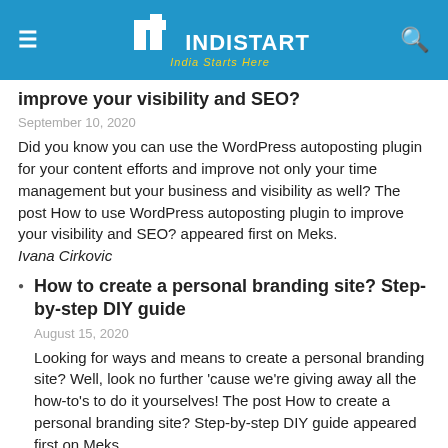INDISTART — India Starts Here
improve your visibility and SEO?
September 10, 2020
Did you know you can use the WordPress autoposting plugin for your content efforts and improve not only your time management but your business and visibility as well? The post How to use WordPress autoposting plugin to improve your visibility and SEO? appeared first on Meks. Ivana Cirkovic
How to create a personal branding site? Step-by-step DIY guide
August 15, 2020
Looking for ways and means to create a personal branding site? Well, look no further 'cause we're giving away all the how-to's to do it yourselves! The post How to create a personal branding site? Step-by-step DIY guide appeared first on Meks. Ivana Cirkovic
Top 15 WordPress content plugins and tools to